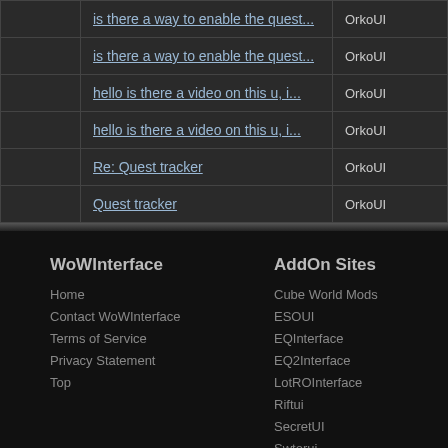|  | Title | Author |
| --- | --- | --- |
|  | is there a way to enable the quest... | OrkoUI |
|  | is there a way to enable the quest... | OrkoUI |
|  | hello is there a video on this u, i... | OrkoUI |
|  | hello is there a video on this u, i... | OrkoUI |
|  | Re: Quest tracker | OrkoUI |
|  | Quest tracker | OrkoUI |
WoWInterface
Home
Contact WoWInterface
Terms of Service
Privacy Statement
Top
AddOn Sites
Cube World Mods
ESOUI
EQInterface
EQ2Interface
LotROInterface
Riftui
SecretUI
Swtorui
WoWInterface